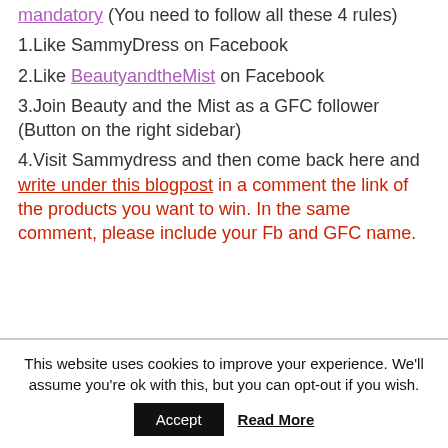mandatory (You need to follow all these 4 rules)
1.Like SammyDress on Facebook
2.Like BeautyandtheMist on Facebook
3.Join Beauty and the Mist as a GFC follower (Button on the right sidebar)
4.Visit Sammydress and then come back here and write under this blogpost in a comment the link of the products you want to win. In the same comment, please include your Fb and GFC name.
This website uses cookies to improve your experience. We'll assume you're ok with this, but you can opt-out if you wish.
Accept   Read More